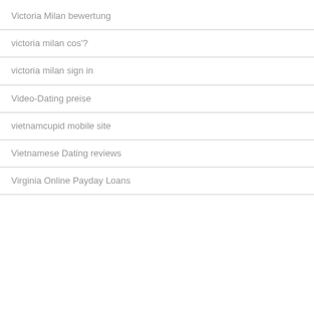Victoria Milan bewertung
victoria milan cos'?
victoria milan sign in
Video-Dating preise
vietnamcupid mobile site
Vietnamese Dating reviews
Virginia Online Payday Loans